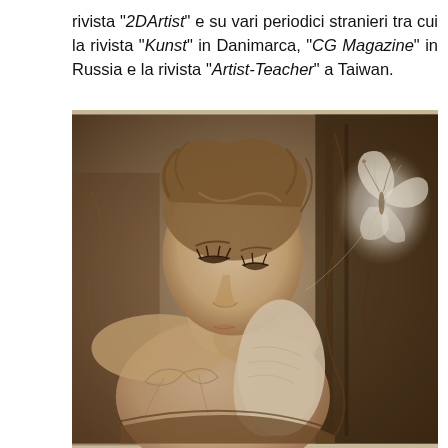rivista "2DArtist" e su vari periodici stranieri tra cui la rivista "Kunst" in Danimarca, "CG Magazine" in Russia e la rivista "Artist-Teacher" a Taiwan.
[Figure (illustration): Black and white sepia-toned illustration or digital painting of a young woman with eyes closed, head slightly bowed, with a butterfly near her shoulder, in a romantic artistic style.]